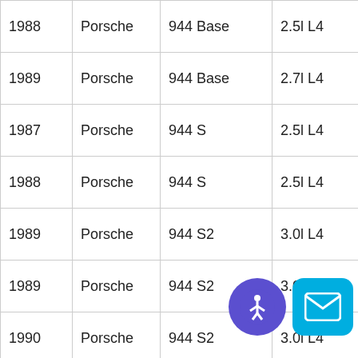| Year | Make | Model | Engine | Info |
| --- | --- | --- | --- | --- |
| 1988 | Porsche | 944 Base | 2.5l L4 | RWD, Coupe |
| 1989 | Porsche | 944 Base | 2.7l L4 | RWD, Coupe |
| 1987 | Porsche | 944 S | 2.5l L4 | RWD, Coupe |
| 1988 | Porsche | 944 S | 2.5l L4 | RWD, Coupe |
| 1989 | Porsche | 944 S2 | 3.0l L4 | RWD, Convertible |
| 1989 | Porsche | 944 S2 | 3.0l L4 | RWD, Coupe |
| 1990 | Porsche | 944 S2 | 3.0l L4 | RWD, ... |